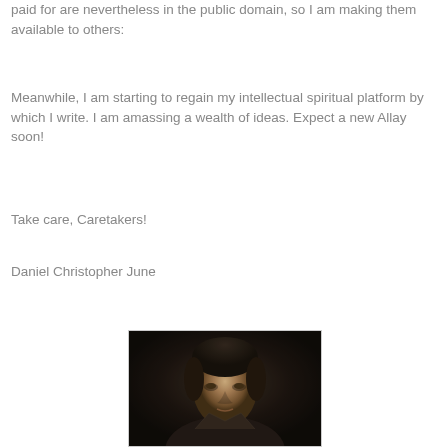paid for are nevertheless in the public domain, so I am making them available to others:
Meanwhile, I am starting to regain my intellectual spiritual platform by which I write. I am amassing a wealth of ideas. Expect a new Allay soon!
Take care, Caretakers!
Daniel Christopher June
[Figure (photo): Black and white vintage portrait photograph of a man with dark hair, looking slightly downward, in formal attire, framed with a light border.]